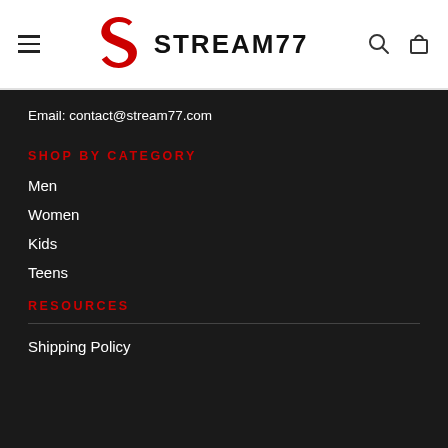STREAM77 — navigation header with hamburger menu, logo, search, and cart icons
Email: contact@stream77.com
SHOP BY CATEGORY
Men
Women
Kids
Teens
RESOURCES
Shipping Policy